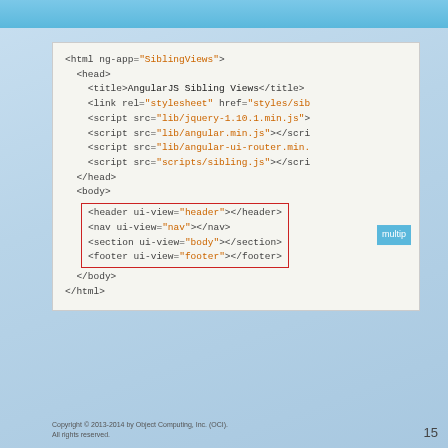[Figure (screenshot): Code snippet showing HTML structure for AngularJS Sibling Views, with ng-app, head, body sections, script tags, and ui-view directives highlighted in a red-bordered box. A tooltip 'multip' is shown on the right side.]
Copyright © 2013-2014 by Object Computing, Inc. (OCI). All rights reserved.
15